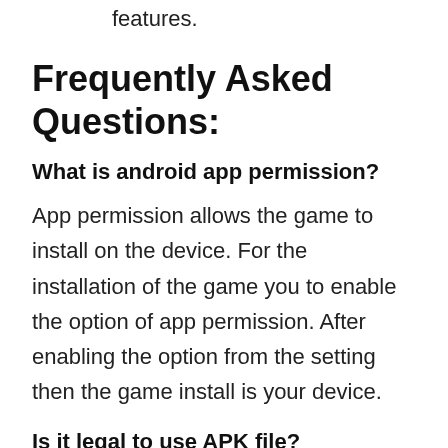features.
Frequently Asked Questions:
What is android app permission?
App permission allows the game to install on the device. For the installation of the game you to enable the option of app permission. After enabling the option from the setting then the game install is your device.
Is it legal to use APK file?